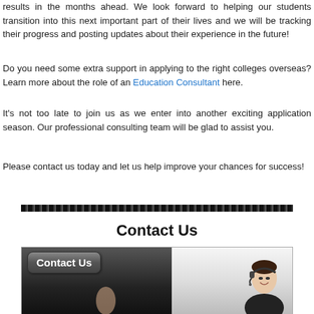results in the months ahead. We look forward to helping our students transition into this next important part of their lives and we will be tracking their progress and posting updates about their experience in the future!
Do you need some extra support in applying to the right colleges overseas? Learn more about the role of an Education Consultant here.
It's not too late to join us as we enter into another exciting application season. Our professional consulting team will be glad to assist you.
Please contact us today and let us help improve your chances for success!
Contact Us
[Figure (photo): Contact Us banner image with two people: a man in a suit pressing a 'Contact Us' button on the left, and a woman wearing a headset smiling on the right.]